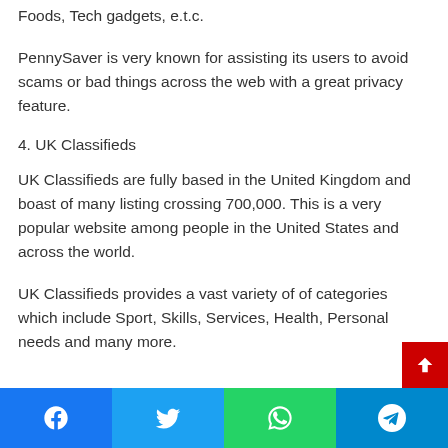Foods, Tech gadgets, e.t.c.
PennySaver is very known for assisting its users to avoid scams or bad things across the web with a great privacy feature.
4. UK Classifieds
UK Classifieds are fully based in the United Kingdom and boast of many listing crossing 700,000. This is a very popular website among people in the United States and across the world.
UK Classifieds provides a vast variety of of categories which include Sport, Skills, Services, Health, Personal needs and many more.